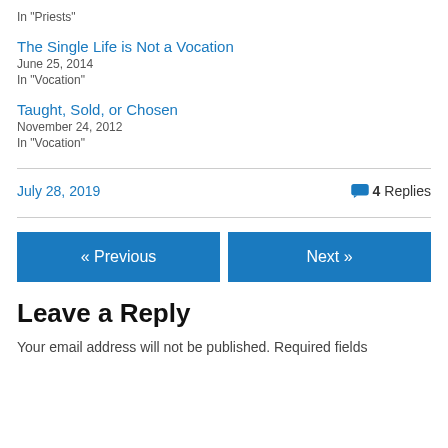In "Priests"
The Single Life is Not a Vocation
June 25, 2014
In "Vocation"
Taught, Sold, or Chosen
November 24, 2012
In "Vocation"
July 28, 2019    4 Replies
« Previous    Next »
Leave a Reply
Your email address will not be published. Required fields